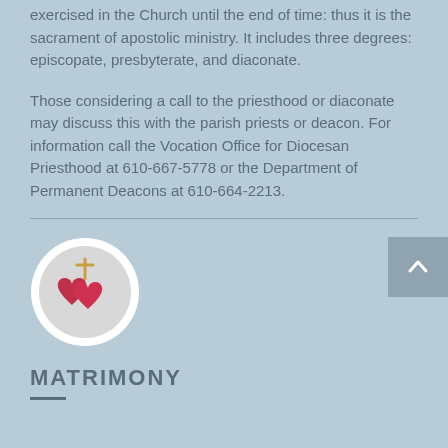exercised in the Church until the end of time: thus it is the sacrament of apostolic ministry. It includes three degrees: episcopate, presbyterate, and diaconate.
Those considering a call to the priesthood or diaconate may discuss this with the parish priests or deacon. For information call the Vocation Office for Diocesan Priesthood at 610-667-5778 or the Department of Permanent Deacons at 610-664-2213.
[Figure (illustration): Circular icon with two red hearts and a gold cross above them, on a light grey background with a white border ring.]
MATRIMONY